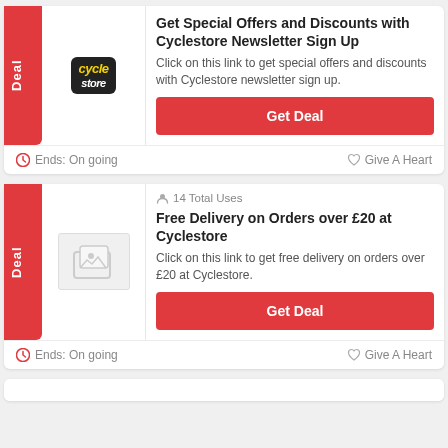Get Special Offers and Discounts with Cyclestore Newsletter Sign Up
Click on this link to get special offers and discounts with Cyclestore newsletter sign up.
Get Deal
Ends: On going
Give A Heart
14 Total Uses
Free Delivery on Orders over £20 at Cyclestore
Click on this link to get free delivery on orders over £20 at Cyclestore.
Get Deal
Ends: On going
Give A Heart